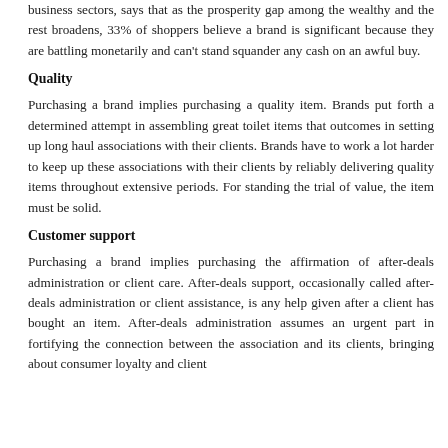business sectors, says that as the prosperity gap among the wealthy and the rest broadens, 33% of shoppers believe a brand is significant because they are battling monetarily and can't stand squander any cash on an awful buy.
Quality
Purchasing a brand implies purchasing a quality item. Brands put forth a determined attempt in assembling great toilet items that outcomes in setting up long haul associations with their clients. Brands have to work a lot harder to keep up these associations with their clients by reliably delivering quality items throughout extensive periods. For standing the trial of value, the item must be solid.
Customer support
Purchasing a brand implies purchasing the affirmation of after-deals administration or client care. After-deals support, occasionally called after-deals administration or client assistance, is any help given after a client has bought an item. After-deals administration assumes an urgent part in fortifying the connection between the association and its clients, bringing about consumer loyalty and client